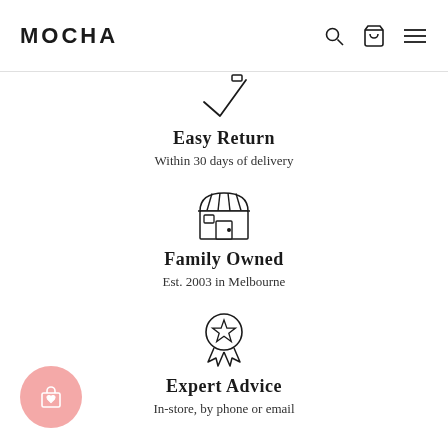MOCHA
[Figure (illustration): Checkmark / return icon outline]
Easy Return
Within 30 days of delivery
[Figure (illustration): Storefront / shop icon outline]
Family Owned
Est. 2003 in Melbourne
[Figure (illustration): Award / medal with star icon outline]
Expert Advice
In-store, by phone or email